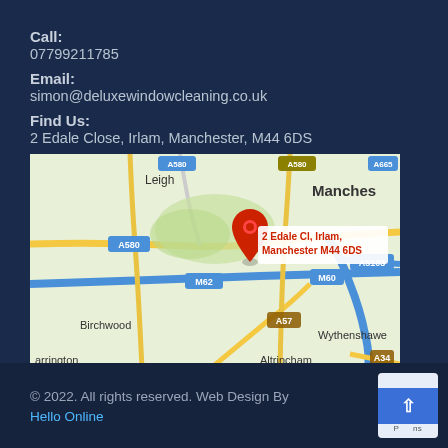Call:
07799211785
Email:
simon@deluxewindowcleaning.co.uk
Find Us:
2 Edale Close, Irlam, Manchester, M44 6DS
[Figure (map): Google Map showing location of 2 Edale Cl, Irlam, Manchester M44 6DS with a red location pin. Map shows surrounding areas including Leigh, Manchester, A580, M62, M60, A5103, A57, A34, Birchwood, Wythenshawe, Altrincham.]
Not Happy? Here's our complaint procedure.
© 2022. All rights reserved. Web Design By Hello Online